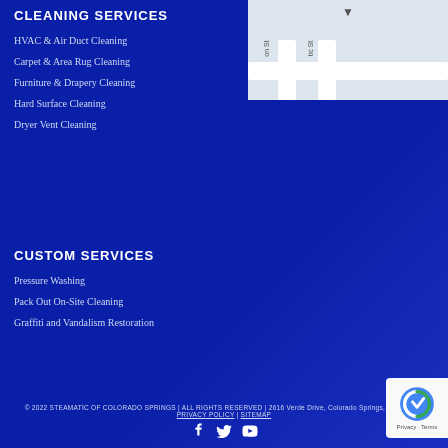CLEANING SERVICES
HVAC & Air Duct Cleaning
Carpet & Area Rug Cleaning
Furniture & Drapery Cleaning
Hard Surface Cleaning
Dryer Vent Cleaning
[Figure (map): Street map showing location near intersection of streets in Colorado Springs]
CUSTOM SERVICES
Pressure Washing
Pack Out On-Site Cleaning
Graffiti and Vandalism Restoration
© 2022 STEAMATIC OF COLORADO SPRINGS | ALL RIGHTS RESERVED | 2616 Verde Drive, Colorado Springs, CO 80910 | PRIVACY POLICY | SITEMAP